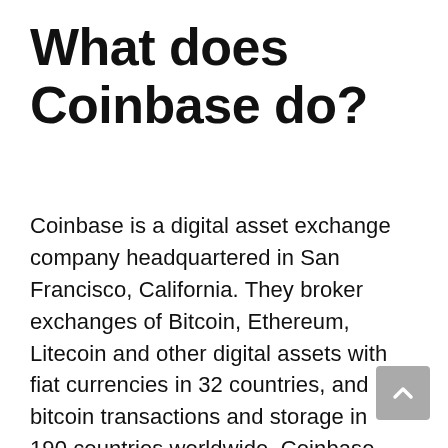What does Coinbase do?
Coinbase is a digital asset exchange company headquartered in San Francisco, California. They broker exchanges of Bitcoin, Ethereum, Litecoin and other digital assets with fiat currencies in 32 countries, and bitcoin transactions and storage in 190 countries worldwide. Coinbase has a wide range of products including an investor focused product called Coinbase Ventures and a US based retail brokerage called GDAX. In addition to building these consumer products, they also have a B2B offering called Coinbase Commerce that helps merchants accept payments.